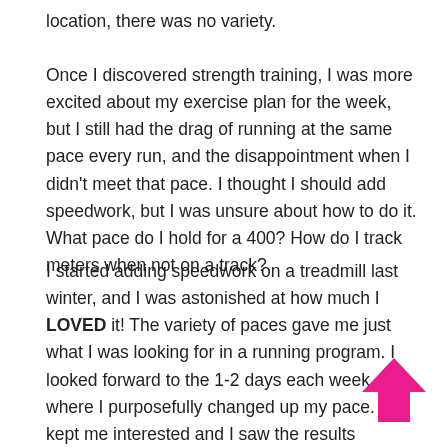location, there was no variety.
Once I discovered strength training, I was more excited about my exercise plan for the week, but I still had the drag of running at the same pace every run, and the disappointment when I didn’t meet that pace. I thought I should add speedwork, but I was unsure about how to do it. What pace do I hold for a 400? How do I track meters when not on a track?
I started adding speedwork on a treadmill last winter, and I was astonished at how much I LOVED it! The variety of paces gave me just what I was looking for in a running program. I looked forward to the 1-2 days each week where I purposefully changed up my pace. It kept me interested and I saw the results (combined with my new strength from lifting weights) in the races I ran that spring. However, I knew something was still missing.
[Figure (illustration): A bold pink upward-pointing arrow icon in the bottom-right corner of the page.]